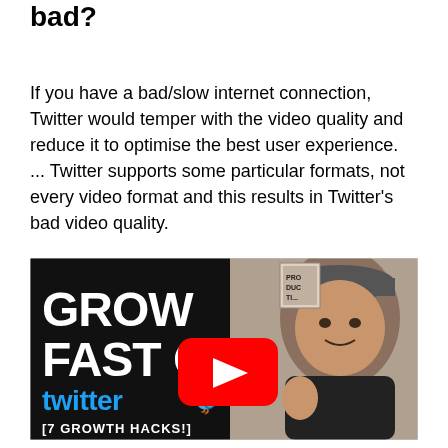bad?
If you have a bad/slow internet connection, Twitter would temper with the video quality and reduce it to optimise the best user experience. ... Twitter supports some particular formats, not every video format and this results in Twitter’s bad video quality.
[Figure (screenshot): YouTube video thumbnail showing 'GROW FAST ON twitter [7 GROWTH HACKS!]' with a person on the right side and a YouTube play button overlay in the center.]